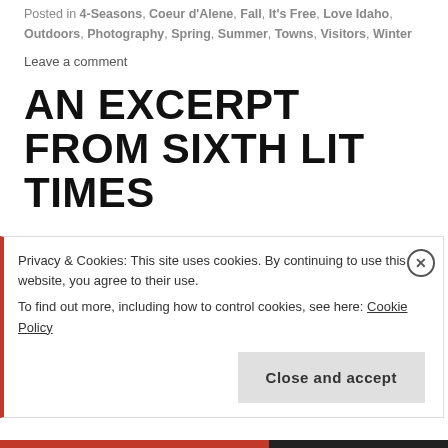Posted in 4-Seasons, Coeur d'Alene, Fall, It's Free, Love Idaho, Outdoors, Photography, Spring, Summer, Towns, Visitors, Winter
Leave a comment
AN EXCERPT FROM SIXTH LIT TIMES
Love Of Idaho is proud to present a series of stories written by the 6th grade class of Charter Academy. Watch for all our postings from "Sixth Lit Times"
Privacy & Cookies: This site uses cookies. By continuing to use this website, you agree to their use. To find out more, including how to control cookies, see here: Cookie Policy
Close and accept